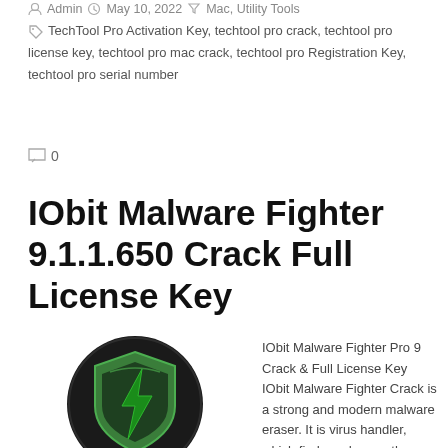Admin · May 10, 2022 · Mac, Utility Tools
TechTool Pro Activation Key, techtool pro crack, techtool pro license key, techtool pro mac crack, techtool pro Registration Key, techtool pro serial number
0
IObit Malware Fighter 9.1.1.650 Crack Full License Key
[Figure (illustration): IObit Malware Fighter Pro logo: a green shield with a black lightning bolt on a dark circular background]
IObit Malware Fighter Pro 9 Crack & Full License Key IObit Malware Fighter Crack is a strong and modern malware eraser. It is virus handler, which finds and erase the fallacious files. Malware Fighter makes your